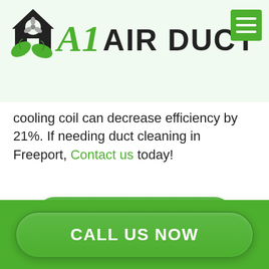[Figure (logo): A1 Air Duct logo with house/fan icon and green leaves, green A1 italic text, bold AIR DUCT text]
cooling coil can decrease efficiency by 21%. If needing duct cleaning in Freeport, Contact us today!
Air Duct Cleaning Service
CALL US NOW